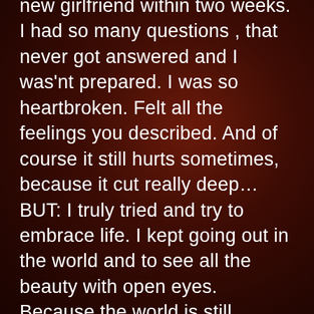new girlfriend within two weeks. I had so many questions , that never got answered and I was'nt prepared. I was so heartbroken. Felt all the feelings you described. And of course it still hurts sometimes, because it cut really deep…BUT: I truly tried and try to embrace life. I kept going out in the world and to see all the beauty with open eyes. Because the world is still beautiful. And my girlfriends and friends were always there for me. I was so lucky to experience real sisterhood. And now I also try to take my chances again. It is not easy, but